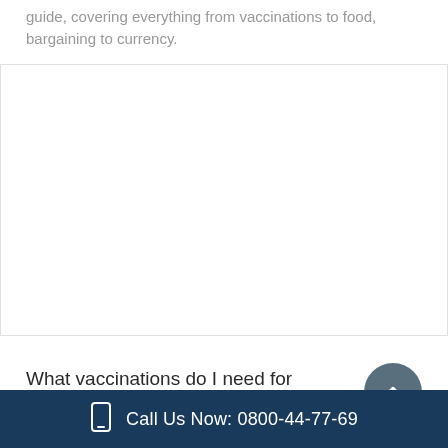guide, covering everything from vaccinations to food, bargaining to currency.
What vaccinations do I need for Botswana?
Call Us Now: 0800-44-77-69